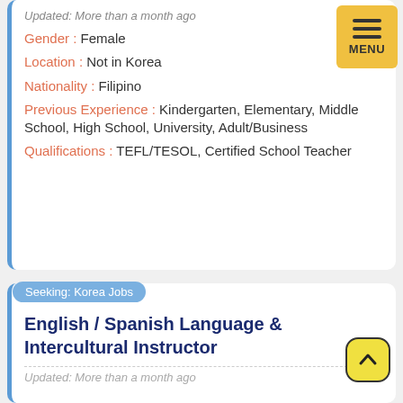Updated: More than a month ago
Gender : Female
Location : Not in Korea
Nationality : Filipino
Previous Experience : Kindergarten, Elementary, Middle School, High School, University, Adult/Business
Qualifications : TEFL/TESOL, Certified School Teacher
Seeking: Korea Jobs
English / Spanish Language & Intercultural Instructor
Updated: More than a month ago